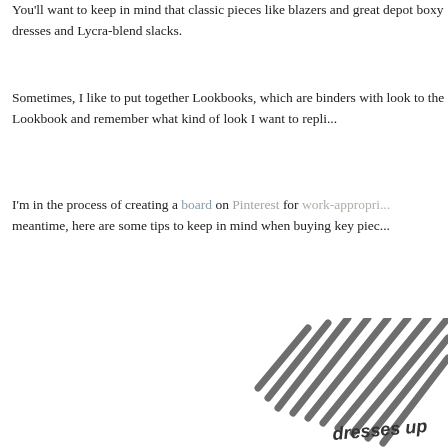You'll want to keep in mind that classic pieces like blazers and great depot boxy dresses and Lycra-blend slacks.
Sometimes, I like to put together Lookbooks, which are binders with look to the Lookbook and remember what kind of look I want to repli...
I'm in the process of creating a board on Pinterest for work-appropriate... meantime, here are some tips to keep in mind when buying key pieces...
[Figure (illustration): Hand-drawn illustration showing diagonal hatching stripes with handwritten text 'dresses up' partially visible at bottom right corner of page]